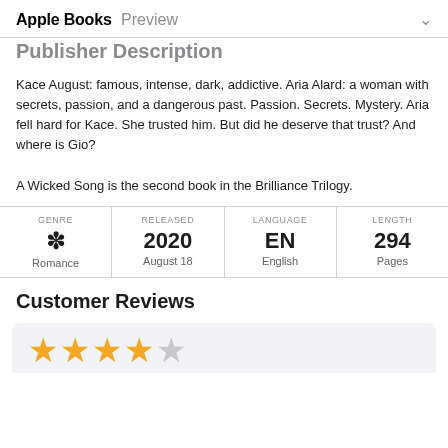Apple Books Preview
Publisher Description
Kace August: famous, intense, dark, addictive. Aria Alard: a woman with secrets, passion, and a dangerous past. Passion. Secrets. Mystery. Aria fell hard for Kace. She trusted him. But did he deserve that trust? And where is Gio?
A Wicked Song is the second book in the Brilliance Trilogy.
| GENRE | RELEASED | LANGUAGE | LENGTH |
| --- | --- | --- | --- |
| ✽ Romance | 2020 August 18 | EN English | 294 Pages |
Customer Reviews